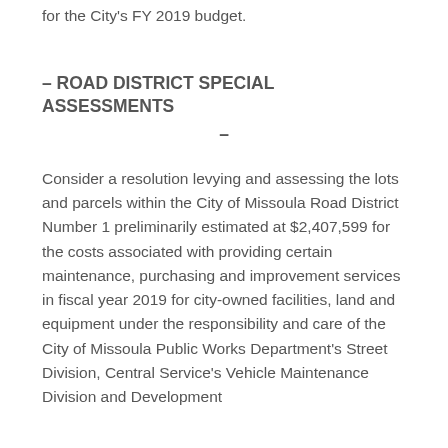for the City's FY 2019 budget.
– ROAD DISTRICT SPECIAL ASSESSMENTS –
Consider a resolution levying and assessing the lots and parcels within the City of Missoula Road District Number 1 preliminarily estimated at $2,407,599 for the costs associated with providing certain maintenance, purchasing and improvement services in fiscal year 2019 for city-owned facilities, land and equipment under the responsibility and care of the City of Missoula Public Works Department's Street Division, Central Service's Vehicle Maintenance Division and Development...